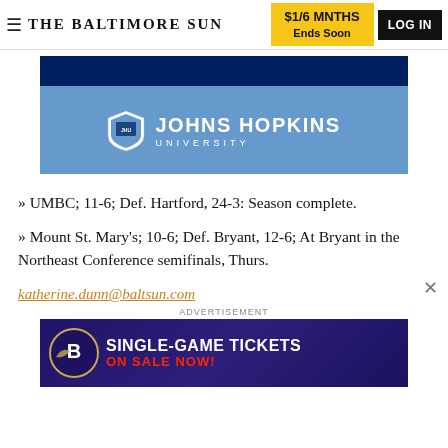THE BALTIMORE SUN | $1/6 MNTHS Ends Soon | LOG IN
[Figure (logo): Johns Hopkins University advertisement banner with dark navy top strip and light blue bottom section showing the JHU shield logo and text 'JOHNS HOPKINS UNIVERSITY']
» UMBC; 11-6; Def. Hartford, 24-3: Season complete.
» Mount St. Mary's; 10-6; Def. Bryant, 12-6; At Bryant in the Northeast Conference semifinals, Thurs.
katherine.dunn@baltsun.com
[Figure (illustration): Baltimore Ravens single-game tickets advertisement banner with purple background, Ravens logo, and text 'SINGLE-GAME TICKETS ON SALE NOW!']